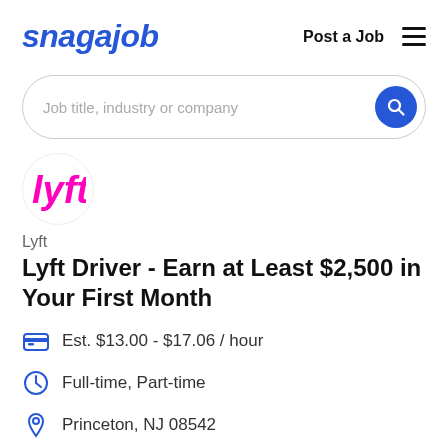snagajob   Post a Job
Job title, industry or company
[Figure (logo): Lyft pink logo]
Lyft
Lyft Driver - Earn at Least $2,500 in Your First Month
Est. $13.00 - $17.06 / hour
Full-time, Part-time
Princeton, NJ 08542